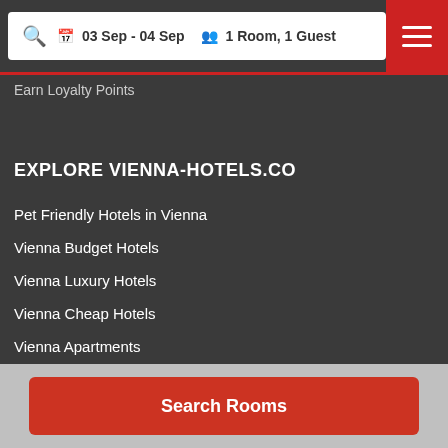03 Sep - 04 Sep  1 Room, 1 Guest
Earn Loyalty Points
EXPLORE VIENNA-HOTELS.CO
Pet Friendly Hotels in Vienna
Vienna Budget Hotels
Vienna Luxury Hotels
Vienna Cheap Hotels
Vienna Apartments
EXPLORE OUR BLOG
Search Rooms